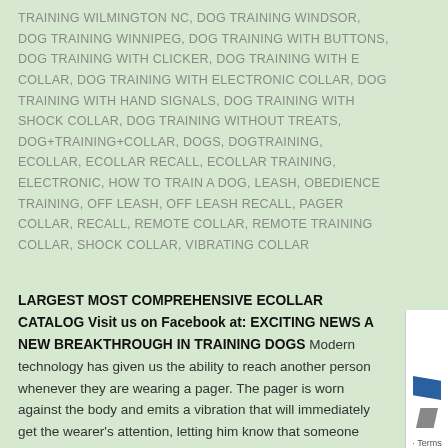TRAINING WILMINGTON NC, DOG TRAINING WINDSOR, DOG TRAINING WINNIPEG, DOG TRAINING WITH BUTTONS, DOG TRAINING WITH CLICKER, DOG TRAINING WITH E COLLAR, DOG TRAINING WITH ELECTRONIC COLLAR, DOG TRAINING WITH HAND SIGNALS, DOG TRAINING WITH SHOCK COLLAR, DOG TRAINING WITHOUT TREATS, DOG+TRAINING+COLLAR, DOGS, DOGTRAINING, ECOLLAR, ECOLLAR RECALL, ECOLLAR TRAINING, ELECTRONIC, HOW TO TRAIN A DOG, LEASH, OBEDIENCE TRAINING, OFF LEASH, OFF LEASH RECALL, PAGER COLLAR, RECALL, REMOTE COLLAR, REMOTE TRAINING COLLAR, SHOCK COLLAR, VIBRATING COLLAR
LARGEST MOST COMPREHENSIVE ECOLLAR CATALOG Visit us on Facebook at: EXCITING NEWS A NEW BREAKTHROUGH IN TRAINING DOGS Modern technology has given us the ability to reach another person whenever they are wearing a pager. The pager is worn against the body and emits a vibration that will immediately get the wearer's attention, letting him know that someone wants